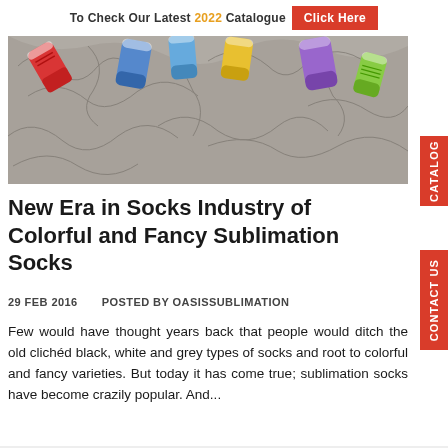To Check Our Latest 2022 Catalogue  Click Here
[Figure (illustration): Colorful socks illustration — multiple pairs of brightly colored socks (red, blue, yellow, purple, green) scattered over a grey background of tangled socks]
New Era in Socks Industry of Colorful and Fancy Sublimation Socks
29 FEB 2016   POSTED BY OASISSUBLIMATION
Few would have thought years back that people would ditch the old clichéd black, white and grey types of socks and root to colorful and fancy varieties. But today it has come true; sublimation socks have become crazily popular. And...